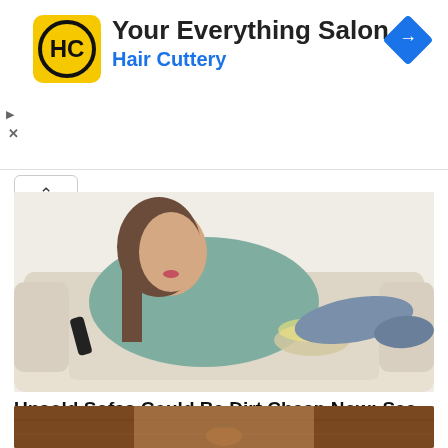[Figure (logo): Hair Cuttery HC logo — yellow square with rounded corners, black HC letters in circle]
Your Everything Salon
Hair Cuttery
[Figure (illustration): Navigation/directions diamond icon in blue]
[Figure (photo): Woman in teal/mint sweater lying on beige sofa holding TV remote, bowl of chips beside her]
Unsold Sofas Could Be Dirt Cheap Now: See Prices
Sofas
Search Now
[Figure (photo): Partial bottom strip showing dark wood furniture]